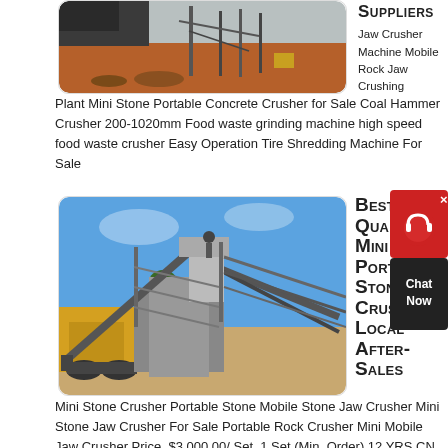[Figure (photo): Construction site with mining/crushing equipment on red dirt ground with metal tower structures]
Suppliers
Jaw Crusher Machine Mobile Rock Jaw Crushing Plant Mini Stone Portable Concrete Crusher for Sale Coal Hammer Crusher 200-1020mm Food waste grinding machine high speed food waste crusher Easy Operation Tire Shredding Machine For Sale
get price
[Figure (photo): Mobile stone crusher plant with conveyor belts and yellow machinery on dirt ground with blue sky]
Best Quality Mini Portable Stone Crusher Local After-Sales
Mini Stone Crusher Portable Stone Mobile Stone Jaw Crusher Mini Stone Jaw Crusher For Sale Portable Rock Crusher Mini Mobile Jaw Crusher Price. $3,000.00/ Set. 1 Set (Min. Order) 12 YRS CN...